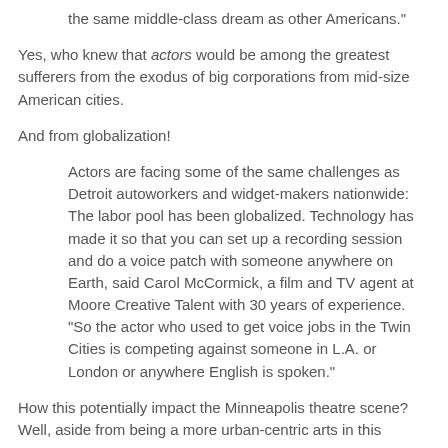the same middle-class dream as other Americans."
Yes, who knew that actors would be among the greatest sufferers from the exodus of big corporations from mid-size American cities.
And from globalization!
Actors are facing some of the same challenges as Detroit autoworkers and widget-makers nationwide: The labor pool has been globalized. Technology has made it so that you can set up a recording session and do a voice patch with someone anywhere on Earth, said Carol McCormick, a film and TV agent at Moore Creative Talent with 30 years of experience. "So the actor who used to get voice jobs in the Twin Cities is competing against someone in L.A. or London or anywhere English is spoken."
How this potentially impact the Minneapolis theatre scene? Well, aside from being a more urban-centric arts in this